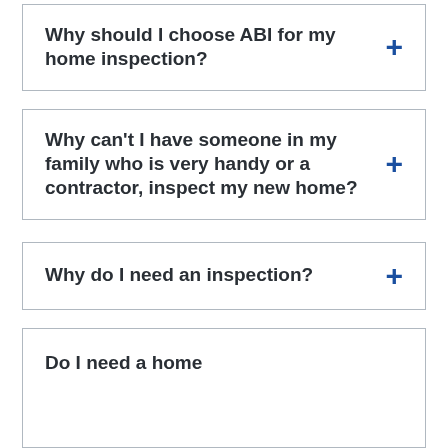Why should I choose ABI for my home inspection?
Why can't I have someone in my family who is very handy or a contractor, inspect my new home?
Why do I need an inspection?
Do I need a home